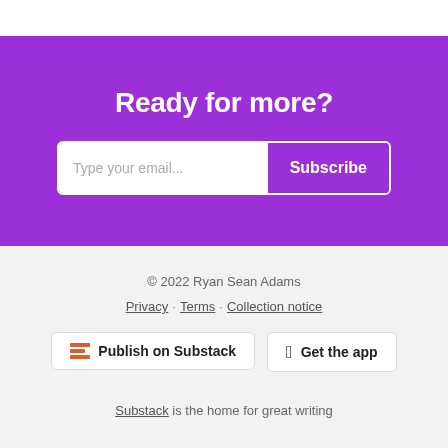Ready for more?
Type your email...   Subscribe
© 2022 Ryan Sean Adams
Privacy · Terms · Collection notice
Publish on Substack
Get the app
Substack is the home for great writing